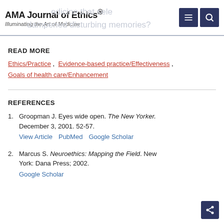AMA Journal of Ethics® Illuminating the Art of Medicine
READ MORE
Ethics/Practice, Evidence-based practice/Effectiveness, Goals of health care/Enhancement
REFERENCES
1. Groopman J. Eyes wide open. The New Yorker. December 3, 2001. 52-57. View Article  PubMed  Google Scholar
2. Marcus S. Neuroethics: Mapping the Field. New York: Dana Press; 2002. Google Scholar